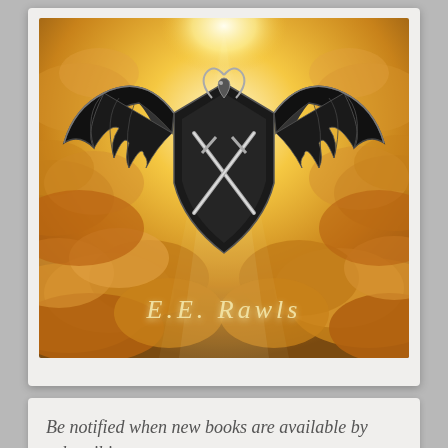[Figure (illustration): A polaroid-style card containing a fantasy logo: a black winged creature (bat wings spread wide) above a shield/crest with crossed swords, set against a dramatic golden cloudy sky. Below the logo reads 'E.E. Rawls' in elegant serif letters.]
Be notified when new books are available by subscribing: